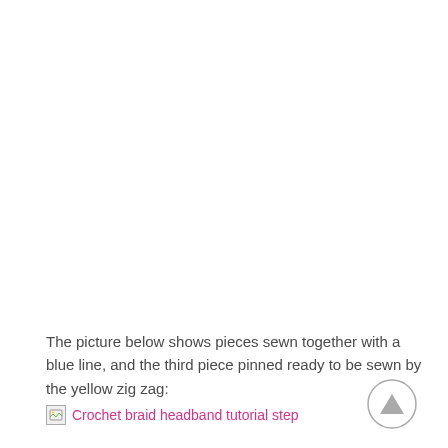The picture below shows pieces sewn together with a blue line, and the third piece pinned ready to be sewn by the yellow zig zag:
[Figure (photo): Broken image placeholder with pink link text reading 'Crochet braid headband tutorial step']
[Figure (illustration): Circular scroll-to-top button with upward-pointing triangle arrow]